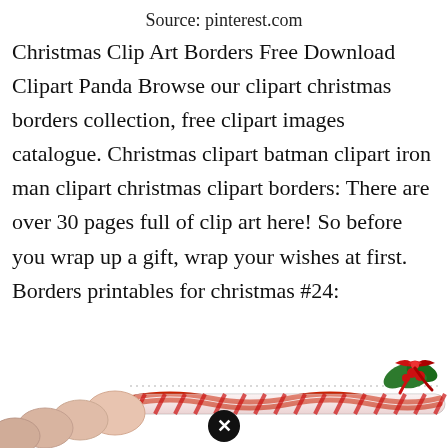Source: pinterest.com
Christmas Clip Art Borders Free Download Clipart Panda Browse our clipart christmas borders collection, free clipart images catalogue. Christmas clipart batman clipart iron man clipart christmas clipart borders: There are over 30 pages full of clip art here! So before you wrap up a gift, wrap your wishes at first. Borders printables for christmas #24:
[Figure (illustration): Partial view of a Christmas border clipart showing candy cane striped rope/border with a holly and red bow decoration on the right side, and what appears to be a round object on the left. A circular close/cancel button is visible in the center bottom area.]